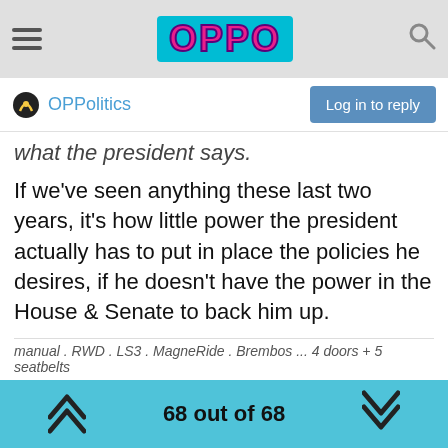[Figure (screenshot): Website header with hamburger menu, OPPO logo on cyan background, and search icon]
OPPolitics   Log in to reply
what the president says.
If we've seen anything these last two years, it's how little power the president actually has to put in place the policies he desires, if he doesn't have the power in the House & Senate to back him up.
manual . RWD . LS3 . MagneRide . Brembos ... 4 doors + 5 seatbelts
68 out of 68